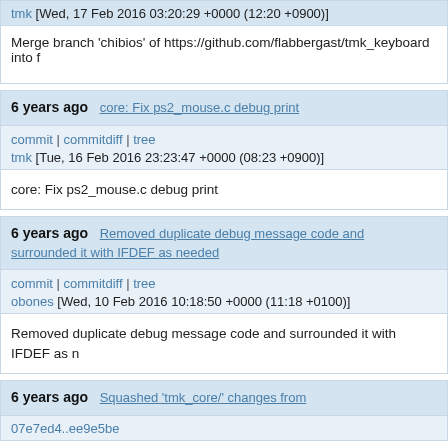tmk [Wed, 17 Feb 2016 03:20:29 +0000 (12:20 +0900)]
Merge branch 'chibios' of https://github.com/flabbergast/tmk_keyboard into
6 years ago   core: Fix ps2_mouse.c debug print
commit | commitdiff | tree
tmk [Tue, 16 Feb 2016 23:23:47 +0000 (08:23 +0900)]
core: Fix ps2_mouse.c debug print
6 years ago   Removed duplicate debug message code and surrounded it with IFDEF as needed
commit | commitdiff | tree
obones [Wed, 10 Feb 2016 10:18:50 +0000 (11:18 +0100)]
Removed duplicate debug message code and surrounded it with IFDEF as
6 years ago   Squashed 'tmk_core/' changes from
07e7ed4..ee9e5be